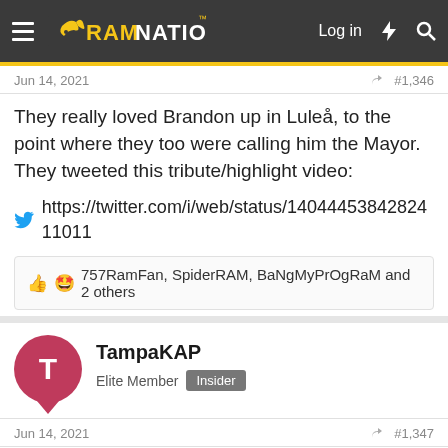RamNation — Log in
Jun 14, 2021  #1,346
They really loved Brandon up in Luleå, to the point where they too were calling him the Mayor. They tweeted this tribute/highlight video:

https://twitter.com/i/web/status/1404445384282411011
757RamFan, SpiderRAM, BaNgMyPrOgRaM and 2 others
TampaKAP
Elite Member  Insider
Jun 14, 2021  #1,347
It feels more likely a "new" position. New being one that did not exist last year. The existing positions that make the most sense are currently filled(of course that could change). Heck someone